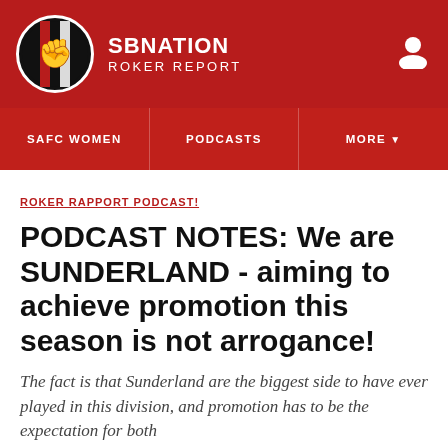SBNATION ROKER REPORT
SAFC WOMEN | PODCASTS | MORE
ROKER RAPPORT PODCAST!
PODCAST NOTES: We are SUNDERLAND - aiming to achieve promotion this season is not arrogance!
The fact is that Sunderland are the biggest side to have ever played in this division, and promotion has to be the expectation for both